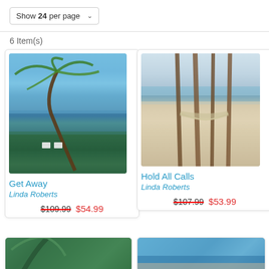Show 24 per page
6 Item(s)
[Figure (photo): Canvas print of a beach scene with a leaning palm tree, two white chairs, and ocean view. Title: Get Away by Linda Roberts. Price: $109.99 crossed out, $54.99 sale price.]
[Figure (photo): Canvas print of a beach scene with hammock between palm trees on white sand. Title: Hold All Calls by Linda Roberts. Price: $107.99 crossed out, $53.99 sale price.]
[Figure (photo): Partial bottom card showing green tropical foliage (bottom left).]
[Figure (photo): Partial bottom card showing blue ocean scene (bottom right).]